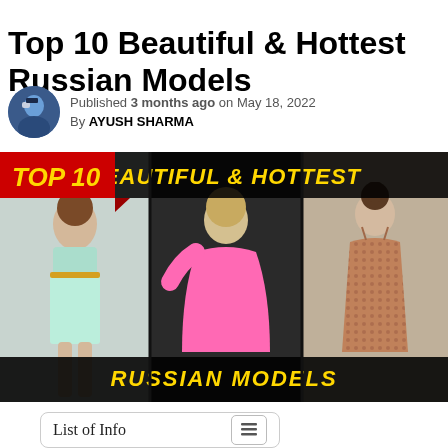Top 10 Beautiful & Hottest Russian Models
Published 3 months ago on May 18, 2022
By AYUSH SHARMA
[Figure (photo): Thumbnail image showing three Russian models. Left: woman in mint crop top and skirt. Center: woman in bright pink off-shoulder gown. Right: woman in brown patterned dress. Black banner at top reads 'BEAUTIFUL & HOTTEST' and bottom reads 'RUSSIAN MODELS'. Red arrow badge at top left reads 'TOP 10'.]
List of Info